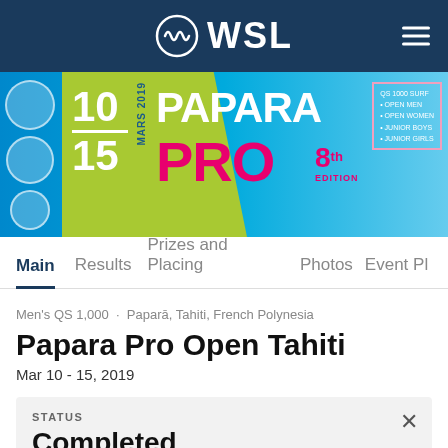WSL
[Figure (photo): Papara Pro 8th Edition event banner showing surfing action, dates March 10-15 2019, QS 1000 Surf competition]
Main · Results · Prizes and Placing · Photos · Event P[lanner]
Men's QS 1,000 · Paparā, Tahiti, French Polynesia
Papara Pro Open Tahiti
Mar 10 - 15, 2019
STATUS
Completed